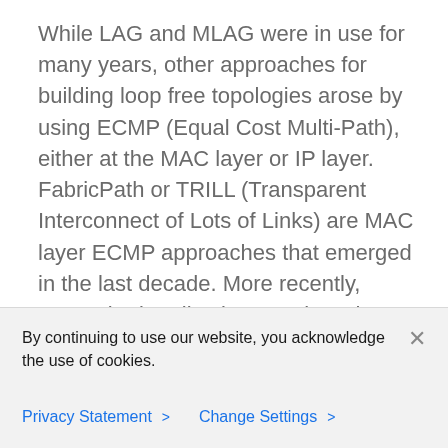While LAG and MLAG were in use for many years, other approaches for building loop free topologies arose by using ECMP (Equal Cost Multi-Path), either at the MAC layer or IP layer. FabricPath or TRILL (Transparent Interconnect of Lots of Links) are MAC layer ECMP approaches that emerged in the last decade. More recently, Network Virtualization Overlays that build loop free topologies on top of IP layer ECMP became the state-of-the-art. VXLAN is the most prevalent network virtualization protocol in use today that builds loop free topologies.
By continuing to use our website, you acknowledge the use of cookies.
Privacy Statement > Change Settings >